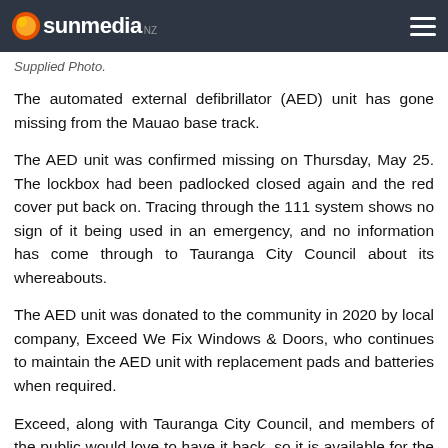sunmedia
Supplied Photo.
The automated external defibrillator (AED) unit has gone missing from the Mauao base track.
The AED unit was confirmed missing on Thursday, May 25. The lockbox had been padlocked closed again and the red cover put back on. Tracing through the 111 system shows no sign of it being used in an emergency, and no information has come through to Tauranga City Council about its whereabouts.
The AED unit was donated to the community in 2020 by local company, Exceed We Fix Windows & Doors, who continues to maintain the AED unit with replacement pads and batteries when required.
Exceed, along with Tauranga City Council, and members of the public would love to have it back, so it is available for the community in the event of a cardiac arrest.
“We need help from the community to find the missing